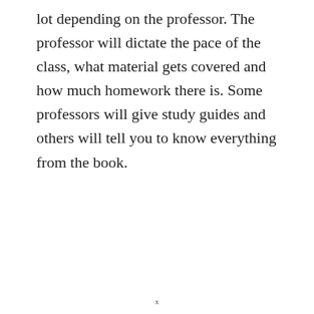lot depending on the professor. The professor will dictate the pace of the class, what material gets covered and how much homework there is. Some professors will give study guides and others will tell you to know everything from the book.
x